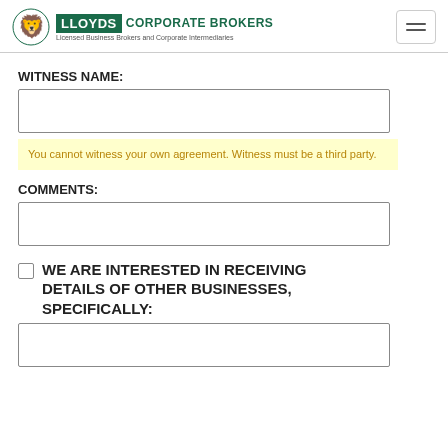Lloyds Corporate Brokers — Licensed Business Brokers and Corporate Intermediaries
WITNESS NAME:
You cannot witness your own agreement. Witness must be a third party.
COMMENTS:
WE ARE INTERESTED IN RECEIVING DETAILS OF OTHER BUSINESSES, SPECIFICALLY: